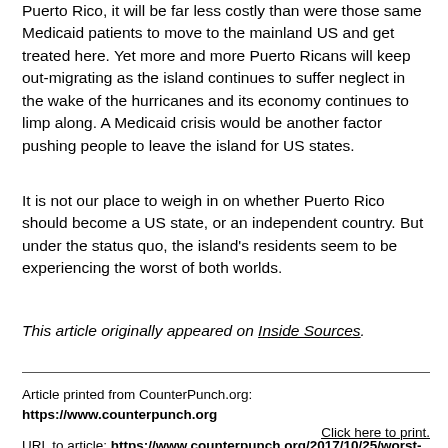Puerto Rico, it will be far less costly than were those same Medicaid patients to move to the mainland US and get treated here. Yet more and more Puerto Ricans will keep out-migrating as the island continues to suffer neglect in the wake of the hurricanes and its economy continues to limp along. A Medicaid crisis would be another factor pushing people to leave the island for US states.
It is not our place to weigh in on whether Puerto Rico should become a US state, or an independent country. But under the status quo, the island's residents seem to be experiencing the worst of both worlds.
This article originally appeared on Inside Sources.
Article printed from CounterPunch.org: https://www.counterpunch.org
URL to article: https://www.counterpunch.org/2017/10/25/worst-of-both-worlds-puerto-ricos-dual-crises/
Click here to print.